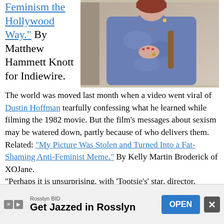Feminism the Hollywood Way." By Matthew Hammett Knott for Indiewire.
[Figure (photo): A person dressed in a blue/purple floral patterned high-neck blouse with hand on chest, wearing earrings and a ring — appears to be a film still from Tootsie (1982).]
The world was moved last month when a video went viral of Dustin Hoffman tearfully confessing what he learned while filming the 1982 movie. But the film's messages about sexism may be watered down, partly because of who delivers them. Related: "My Picture Was Stolen and Turned Into a Fat-Shaming Anti-Feminist Meme." By Kelly Martin Broderick of XOJane.
"Perhaps it is unsurprising, with 'Tootsie's' star, director, producers and three out of four writers being male, that the film seems at times masculine in its approach, with all the insights
Rosslyn BID
Get Jazzed in Rosslyn
OPEN